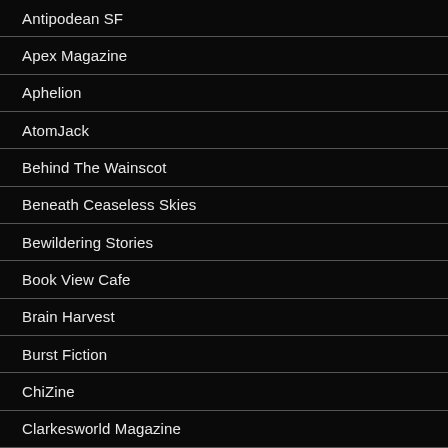Antipodean SF
Apex Magazine
Aphelion
AtomJack
Behind The Wainscot
Beneath Ceaseless Skies
Bewildering Stories
Book View Cafe
Brain Harvest
Burst Fiction
ChiZine
Clarkesworld Magazine